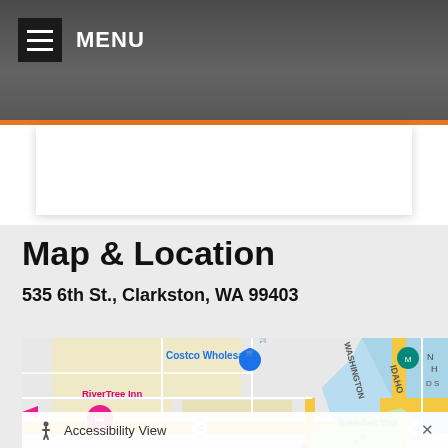MENU
Map & Location
535 6th St., Clarkston, WA 99403
[Figure (map): Google Maps view showing the area around 535 6th St., Clarkston, WA 99403. Map shows Costco Wholesale, RiverTree Inn, Greenbelt Trail, and nearby roads including IDAHO and WASHINGTON streets. Yellow roads indicate main roads. Blue areas indicate the Snake River. Route 12 is visible.]
Accessibility View